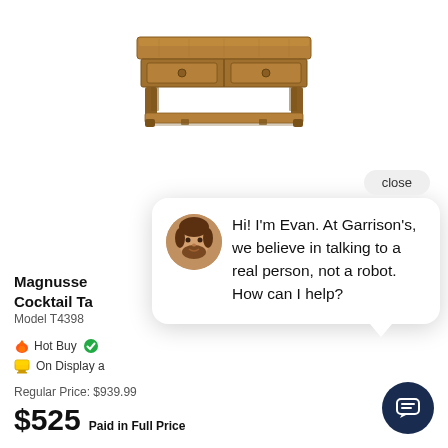[Figure (photo): Wooden coffee table / cocktail table with two drawers and lower shelf, shown on white background]
close
[Figure (photo): Chat popup with avatar photo of Evan (bearded man), message: Hi! I'm Evan. At Garrison's, we believe in talking to a real person, not a robot. How can I help?]
Magnusse Cocktail Ta
Model T4398
Hot Buy
On Display a
Regular Price: $939.99
$525 Paid in Full Price